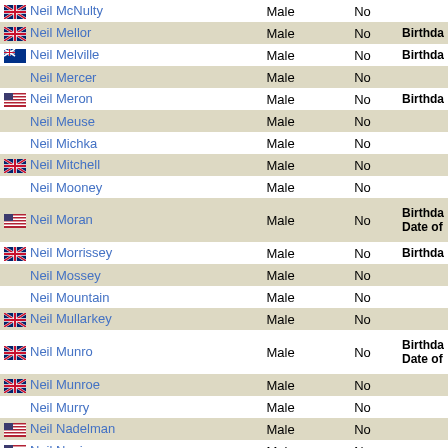| Name | Gender | Living | Info |
| --- | --- | --- | --- |
| Neil McNulty | Male | No |  |
| Neil Mellor | Male | No | Birthda |
| Neil Melville | Male | No | Birthda |
| Neil Mercer | Male | No |  |
| Neil Meron | Male | No | Birthda |
| Neil Meuse | Male | No |  |
| Neil Michka | Male | No |  |
| Neil Mitchell | Male | No |  |
| Neil Mooney | Male | No |  |
| Neil Moran | Male | No | Birthda / Date of |
| Neil Morrissey | Male | No | Birthda |
| Neil Mossey | Male | No |  |
| Neil Mountain | Male | No |  |
| Neil Mullarkey | Male | No |  |
| Neil Munro | Male | No | Birthda / Date of |
| Neil Munroe | Male | No |  |
| Neil Murry | Male | No |  |
| Neil Nadelman | Male | No |  |
| Neil Napier | Male | No |  |
| Neil Nash | Male | No | Birthda |
| Neil Nelson | Male | No |  |
| Neil Nelson Band | Music Band | No |  |
| Neil Nephew | Male | No |  |
| Neil Newbon | Male | No | Birthda |
| Neil Newlon | Male | No |  |